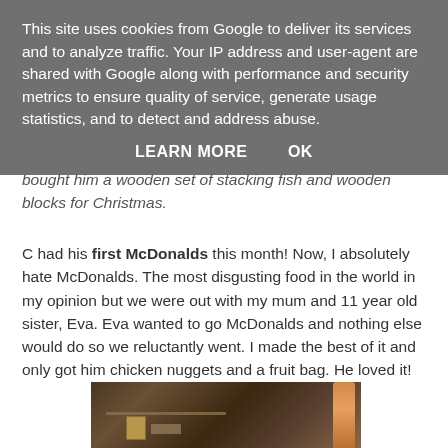This site uses cookies from Google to deliver its services and to analyze traffic. Your IP address and user-agent are shared with Google along with performance and security metrics to ensure quality of service, generate usage statistics, and to detect and address abuse.
LEARN MORE   OK
bought him a wooden set of stacking fish and wooden blocks for Christmas.
C had his first McDonalds this month! Now, I absolutely hate McDonalds. The most disgusting food in the world in my opinion but we were out with my mum and 11 year old sister, Eva. Eva wanted to go McDonalds and nothing else would do so we reluctantly went. I made the best of it and only got him chicken nuggets and a fruit bag. He loved it!
[Figure (photo): Indoor photo showing a room with shelves, items, and a figure on the right side wearing orange/red clothing]